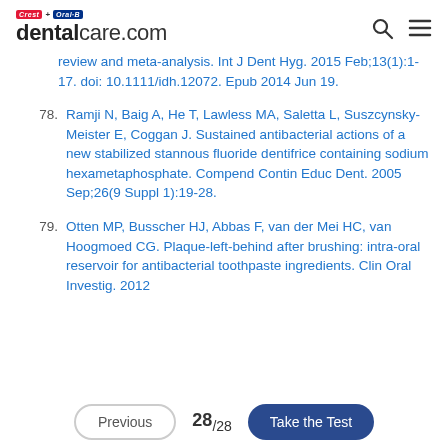Crest + Oral-B dentalcare.com
review and meta-analysis. Int J Dent Hyg. 2015 Feb;13(1):1-17. doi: 10.1111/idh.12072. Epub 2014 Jun 19.
78. Ramji N, Baig A, He T, Lawless MA, Saletta L, Suszcynsky-Meister E, Coggan J. Sustained antibacterial actions of a new stabilized stannous fluoride dentifrice containing sodium hexametaphosphate. Compend Contin Educ Dent. 2005 Sep;26(9 Suppl 1):19-28.
79. Otten MP, Busscher HJ, Abbas F, van der Mei HC, van Hoogmoed CG. Plaque-left-behind after brushing: intra-oral reservoir for antibacterial toothpaste ingredients. Clin Oral Investig. 2012
Previous  28/28  Take the Test